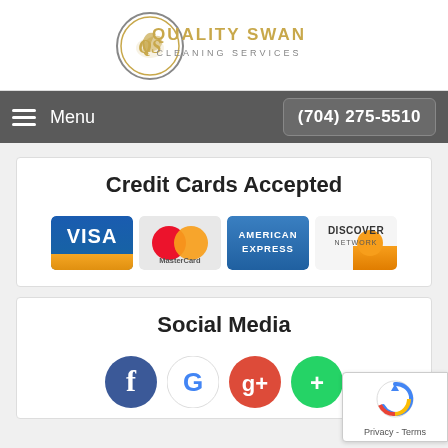[Figure (logo): Quality Swan Cleaning Services logo with gold swan in circle on left and gold text 'QUALITY SWAN CLEANING SERVICES' on right]
Menu   (704) 275-5510
Credit Cards Accepted
[Figure (illustration): Four credit card logos: Visa, MasterCard, American Express, Discover Network]
Social Media
[Figure (illustration): Social media icons: Facebook, Google, and two others partially visible]